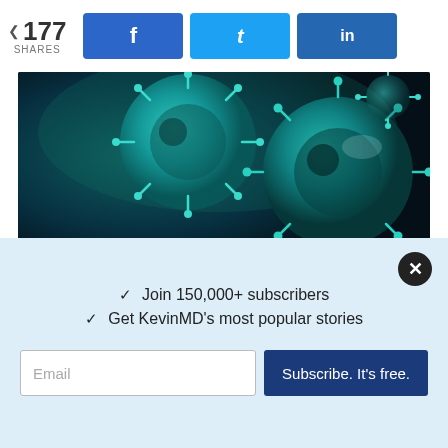177 SHARES | Facebook | Twitter | LinkedIn
[Figure (photo): Close-up illustration of teal/green coronavirus particles on dark background]
Novavax may be able to provide equitable access to another vaccine alternative
VIBHAV PRABHAKAR, TEJAS SEKHAR, AND DIVYA SRINIVASAN
[Figure (photo): Partial view of a second article image, grayscale/dark tones]
✓  Join 150,000+ subscribers
✓  Get KevinMD's most popular stories